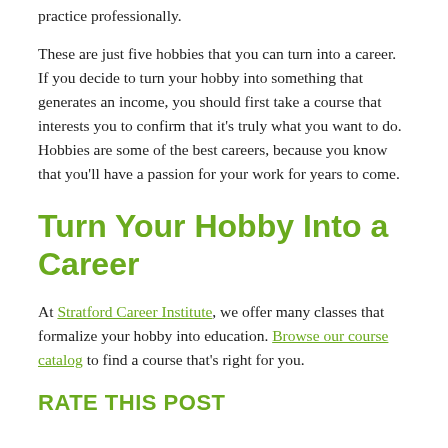practice professionally.
These are just five hobbies that you can turn into a career. If you decide to turn your hobby into something that generates an income, you should first take a course that interests you to confirm that it's truly what you want to do. Hobbies are some of the best careers, because you know that you'll have a passion for your work for years to come.
Turn Your Hobby Into a Career
At Stratford Career Institute, we offer many classes that formalize your hobby into education. Browse our course catalog to find a course that's right for you.
RATE THIS POST